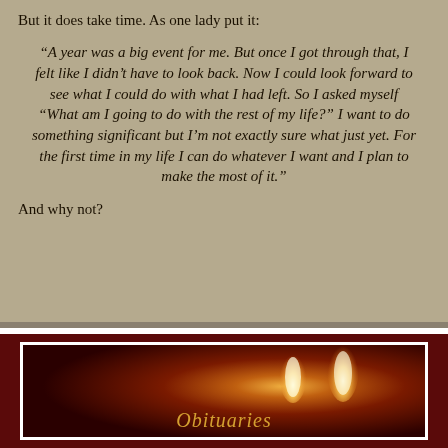But it does take time. As one lady put it:
“A year was a big event for me. But once I got through that, I felt like I didn’t have to look back. Now I could look forward to see what I could do with what I had left. So I asked myself “What am I going to do with the rest of my life?” I want to do something significant but I’m not exactly sure what just yet. For the first time in my life I can do whatever I want and I plan to make the most of it.”
And why not?
[Figure (photo): Dark red/maroon background section with a white-bordered frame containing an image of candle flames against a dark background, with ornate italic text partially visible at the bottom reading 'Obituaries' or similar.]